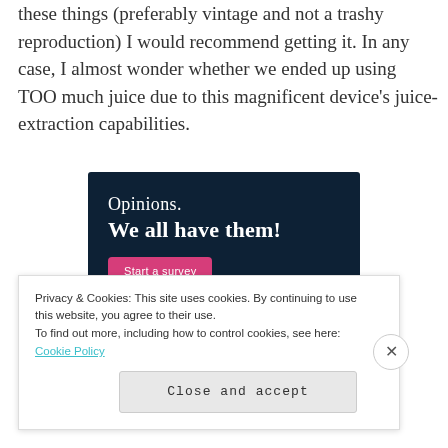these things (preferably vintage and not a trashy reproduction) I would recommend getting it. In any case, I almost wonder whether we ended up using TOO much juice due to this magnificent device's juice-extraction capabilities.
[Figure (illustration): Advertisement banner with dark navy background. Text reads 'Opinions.' on first line and 'We all have them!' in bold below. A pink 'Start a survey' button on the lower left and a circular logo for CrowdSignal on the lower right.]
Privacy & Cookies: This site uses cookies. By continuing to use this website, you agree to their use.
To find out more, including how to control cookies, see here: Cookie Policy
Close and accept